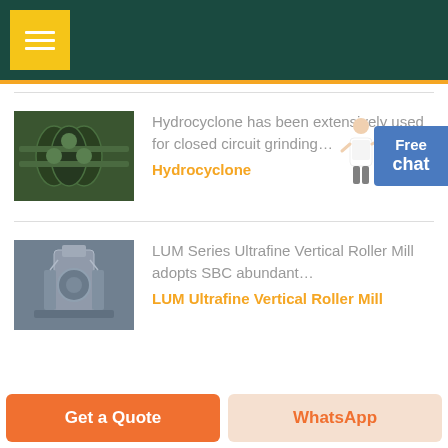Menu
[Figure (photo): Industrial hydrocyclone equipment photo thumbnail]
Hydrocyclone has been extensively used for closed circuit grinding…
Hydrocyclone
[Figure (photo): LUM Series Ultrafine Vertical Roller Mill equipment photo thumbnail]
LUM Series Ultrafine Vertical Roller Mill adopts SBC abundant…
LUM Ultrafine Vertical Roller Mill
Get a Quote
WhatsApp